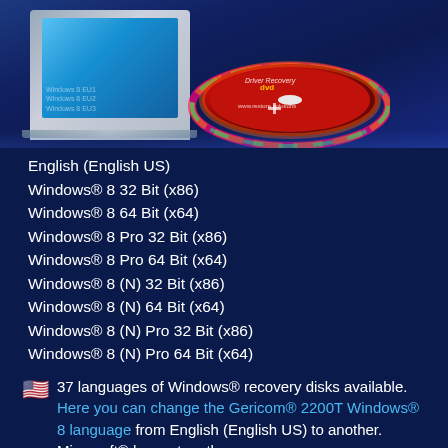[Figure (photo): Product photo of a Driver Recovery DVD disc with red and rainbow holographic design, showing 'Driver Recovery' text and 'www.restore.solutions', next to a laptop/device package with Windows 8 text visible]
English (English US)
Windows® 8 32 Bit (x86)
Windows® 8 64 Bit (x64)
Windows® 8 Pro 32 Bit (x86)
Windows® 8 Pro 64 Bit (x64)
Windows® 8 (N) 32 Bit (x86)
Windows® 8 (N) 64 Bit (x64)
Windows® 8 (N) Pro 32 Bit (x86)
Windows® 8 (N) Pro 64 Bit (x64)
🇺🇸 37 languages of Windows® recovery disks available. Here you can change the Gericom® 2200T Windows® 8 language from English (English US) to another. Microsoft® has set up the